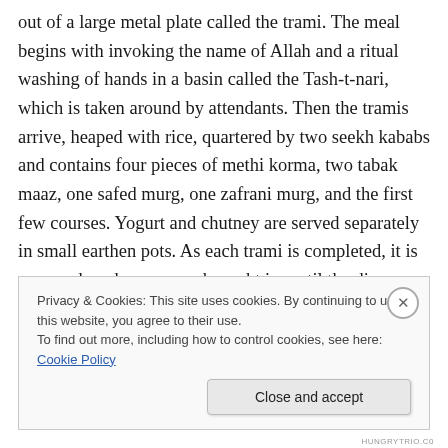out of a large metal plate called the trami. The meal begins with invoking the name of Allah and a ritual washing of hands in a basin called the Tash-t-nari, which is taken around by attendants. Then the tramis arrive, heaped with rice, quartered by two seekh kababs and contains four pieces of methi korma, two tabak maaz, one safed murg, one zafrani murg, and the first few courses. Yogurt and chutney are served separately in small earthen pots. As each trami is completed, it is removed, and a new one brought in, until the dinner has run its course. Seven dishes are a must for these occasions — tabakh maaz,
Privacy & Cookies: This site uses cookies. By continuing to use this website, you agree to their use.
To find out more, including how to control cookies, see here: Cookie Policy
Close and accept